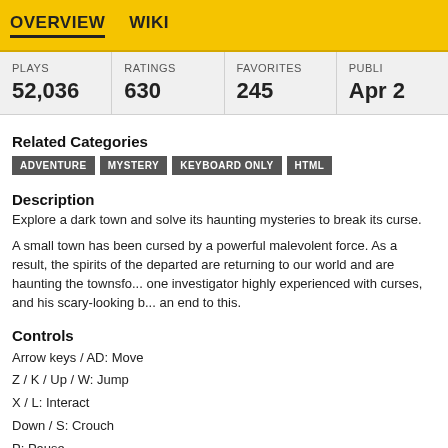OVERVIEW   WIKI
| PLAYS | RATINGS | FAVORITES | PUBLI... |
| --- | --- | --- | --- |
| 52,036 | 630 | 245 | Apr ... |
Related Categories
ADVENTURE
MYSTERY
KEYBOARD ONLY
HTML
Description
Explore a dark town and solve its haunting mysteries to break its curse.
A small town has been cursed by a powerful malevolent force. As a result, the spirits of the departed are returning to our world and are haunting the townsfolk. You play as one investigator highly experienced with curses, and his scary-looking black cat, to put an end to this.
Controls
Arrow keys / AD: Move
Z / K / Up / W: Jump
X / L: Interact
Down / S: Crouch
P: Pause